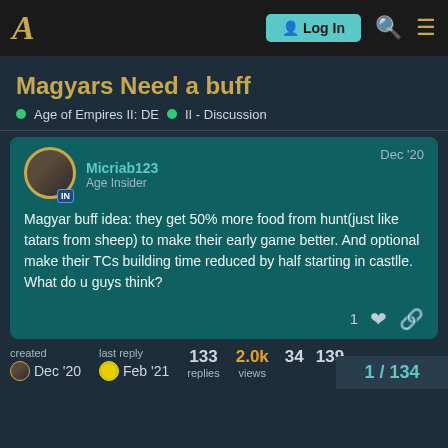A  Log In
Magyars Need a buff
Age of Empires II: DE  II - Discussion
Micriab123  Age Insider  Dec '20
Magyar buff idea: they get 50% more food from hunt(just like tatars from sheep) to make their early game better. And optional make their TCs building time reduced by half starting in castlle. What do u guys think?
created Dec '20  last reply Feb '21  133 replies  2.0k views  34  139  1 / 134